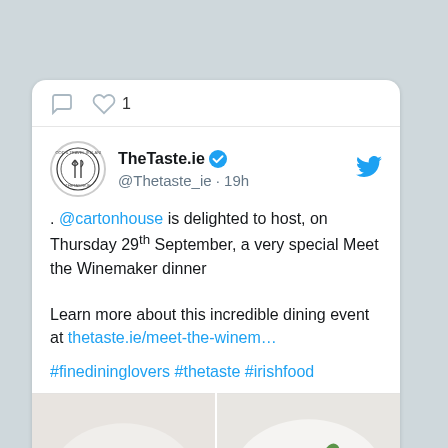. @cartonhouse is delighted to host, on Thursday 29th September, a very special Meet the Winemaker dinner

Learn more about this incredible dining event at thetaste.ie/meet-the-winem…

#finedininglovers #thetaste #irishfood
[Figure (photo): Two food photos side by side: left showing a fine dining dish with beet and microgreens, right showing a plate with vegetables and edible flowers]